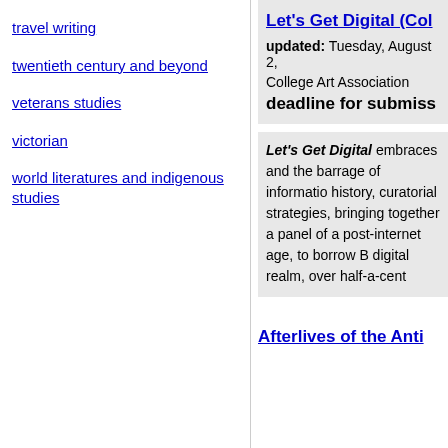travel writing
twentieth century and beyond
veterans studies
victorian
world literatures and indigenous studies
Let's Get Digital (Col…
updated: Tuesday, August 2,…
College Art Association
deadline for submiss…
Let's Get Digital embraces and the barrage of informatio… history, curatorial strategies, … bringing together a panel of a… post-internet age, to borrow B… digital realm, over half-a-cent…
Afterlives of the Anti…